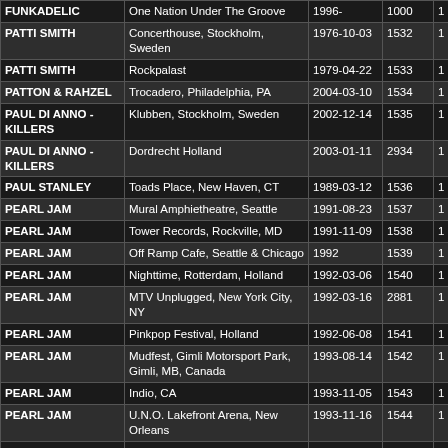| Artist | Venue | Date | ID | # | Link |
| --- | --- | --- | --- | --- | --- |
| FUNKADELIC | One Nation Under The Groove | 1996- | 1000 | 1 | Details |
| PATTI SMITH | Concerthouse, Stockholm, Sweden | 1976-10-03 | 1532 | 1 | Details |
| PATTI SMITH | Rockpalast | 1979-04-22 | 1533 | 1 | Details |
| PATTON & RAHZEL | Trocadero, Philadelphia, PA | 2004-03-10 | 1534 | 1 | Details |
| PAUL DI ANNO - KILLERS | Klubben, Stockholm, Sweden | 2002-12-14 | 1535 | 1 | Details |
| PAUL DI ANNO - KILLERS | Dordrecht Holland | 2003-01-11 | 2934 | 1 | Details |
| PAUL STANLEY | Toads Place, New Haven, CT | 1989-03-12 | 1536 | 1 | Details |
| PEARL JAM | Mural Amphietheatre, Seattle | 1991-08-23 | 1537 | 1 | Details |
| PEARL JAM | Tower Records, Rockville, MD | 1991-11-09 | 1538 | 1 | Details |
| PEARL JAM | Off Ramp Cafe, Seattle & Chicago | 1992 | 1539 | 1 | Details |
| PEARL JAM | Nighttime, Rotterdam, Holland | 1992-03-06 | 1540 | 1 | Details |
| PEARL JAM | MTV Unplugged, New York City, NY | 1992-03-16 | 2881 | 1 | Details |
| PEARL JAM | Pinkpop Festival, Holland | 1992-06-08 | 1541 | 1 | Details |
| PEARL JAM | Mudfest, Gimli Motorsport Park, Gimli, MB, Canada | 1993-08-14 | 1542 | 1 | Details |
| PEARL JAM | Indio, CA | 1993-11-05 | 1543 | 1 | Details |
| PEARL JAM | U.N.O. Lakefront Arena, New Orleans | 1993-11-16 | 1544 | 1 | Details |
| PEARL JAM | Uno Lakefront Arena, New | 1993- | 2480 | 1 | Details |